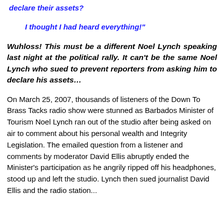declare their assets?
I thought I had heard everything!"
Wuhloss! This must be a different Noel Lynch speaking last night at the political rally. It can't be the same Noel Lynch who sued to prevent reporters from asking him to declare his assets…
On March 25, 2007, thousands of listeners of the Down To Brass Tacks radio show were stunned as Barbados Minister of Tourism Noel Lynch ran out of the studio after being asked on air to comment about his personal wealth and Integrity Legislation. The emailed question from a listener and comments by moderator David Ellis abruptly ended the Minister's participation as he angrily ripped off his headphones, stood up and left the studio. Lynch then sued journalist David Ellis and the radio station...